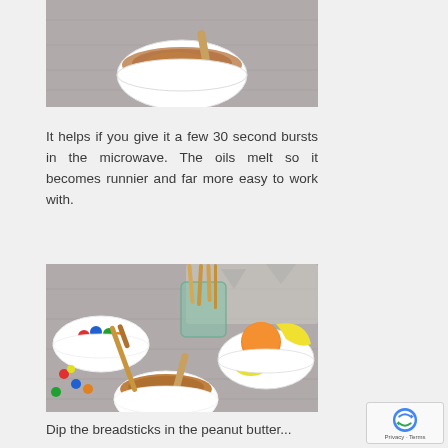[Figure (photo): A white ceramic bowl containing peanut butter with a wooden spoon, placed on a gray wooden surface.]
It helps if you give it a few 30 second bursts in the microwave. The oils melt so it becomes runnier and far more easy to work with.
[Figure (photo): A styled food photo showing a bowl of peanut butter with a breadstick dipped in it, a glass cup holding breadsticks, a bowl of colorful M&M candies, and a bowl of fresh fruits including oranges and bananas, all arranged on a gray wooden table.]
Dip the breadsticks in the peanut butter...